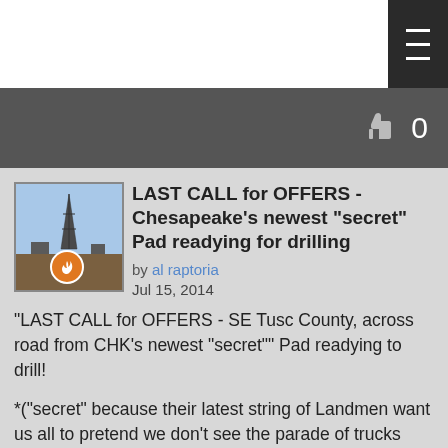[Figure (screenshot): White top bar area with dark menu box in top right corner containing hamburger menu icon lines]
[Figure (screenshot): Dark grey like/thumbs-up bar showing thumbs up icon and count of 0]
LAST CALL for OFFERS - Chesapeake's newest "secret" Pad readying for drilling
by al raptoria
Jul 15, 2014
"LAST CALL for OFFERS - SE Tusc County, across road from CHK's newest "secret"" Pad readying to drill!
*("secret" because their latest string of Landmen want us all to pretend we don't see the parade of trucks moving in and hear the noise and listen to the industry experts who are joint-venturing with them on that very project ~ The Emperor may or may not be naked - but he IS drilling for OIL and it's 500' away!)
CHK (Chesapeake's stock ticker) has had a triple